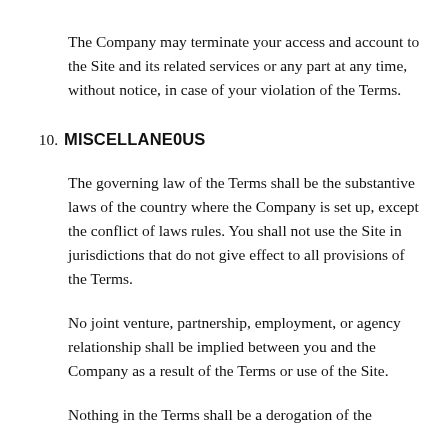The Company may terminate your access and account to the Site and its related services or any part at any time, without notice, in case of your violation of the Terms.
10. MISCELLANEOUS
The governing law of the Terms shall be the substantive laws of the country where the Company is set up, except the conflict of laws rules. You shall not use the Site in jurisdictions that do not give effect to all provisions of the Terms.
No joint venture, partnership, employment, or agency relationship shall be implied between you and the Company as a result of the Terms or use of the Site.
Nothing in the Terms shall be a derogation of the